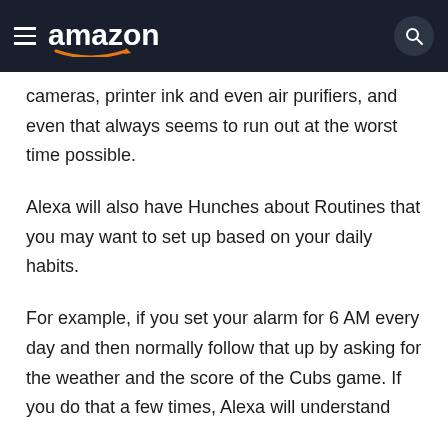amazon
cameras, printer ink and even air purifiers, and even that always seems to run out at the worst time possible.
Alexa will also have Hunches about Routines that you may want to set up based on your daily habits.
For example, if you set your alarm for 6 AM every day and then normally follow that up by asking for the weather and the score of the Cubs game. If you do that a few times, Alexa will understand